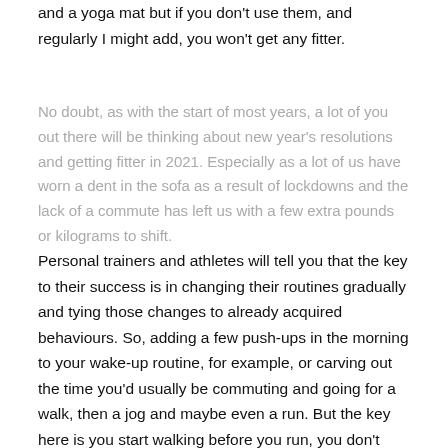and a yoga mat but if you don't use them, and regularly I might add, you won't get any fitter.
No doubt, as with the start of most years, a lot of you out there will be thinking about new year's resolutions and getting fitter in 2021. Especially as a lot of us have worn a dent in the sofa as a result of lockdowns and the lack of a commute has left us with a few extra pounds or kilograms to shift.
Personal trainers and athletes will tell you that the key to their success is in changing their routines gradually and tying those changes to already acquired behaviours. So, adding a few push-ups in the morning to your wake-up routine, for example, or carving out the time you'd usually be commuting and going for a walk, then a jog and maybe even a run. But the key here is you start walking before you run, you don't rush into running. If you start off with a painful and difficult run, you're unlikely to want to do it again.